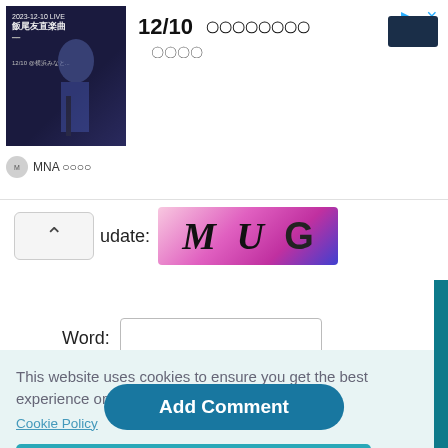[Figure (screenshot): Advertisement banner showing a cellist, Japanese text '12/10' and more Japanese characters, with a dark navy button on the right and MNA source label below.]
[Figure (screenshot): CAPTCHA widget showing letters M U G on a pink-to-purple gradient background, with a chevron/collapse button on the left.]
Word:
[Figure (screenshot): Empty text input field for Word entry.]
[Figure (screenshot): Add Comment button in teal/blue.]
This website uses cookies to ensure you get the best experience on our website. Cookie Policy
[Figure (screenshot): Got it! button in teal color for cookie consent.]
efore bsite.